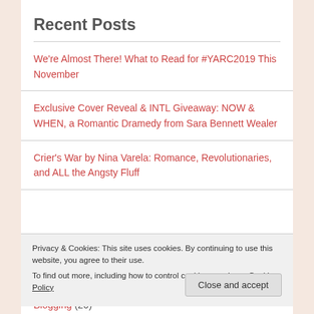Recent Posts
We're Almost There! What to Read for #YARC2019 This November
Exclusive Cover Reveal & INTL Giveaway: NOW & WHEN, a Romantic Dramedy from Sara Bennett Wealer
Crier's War by Nina Varela: Romance, Revolutionaries, and ALL the Angsty Fluff
Privacy & Cookies: This site uses cookies. By continuing to use this website, you agree to their use. To find out more, including how to control cookies, see here: Cookie Policy
Blogging (26)